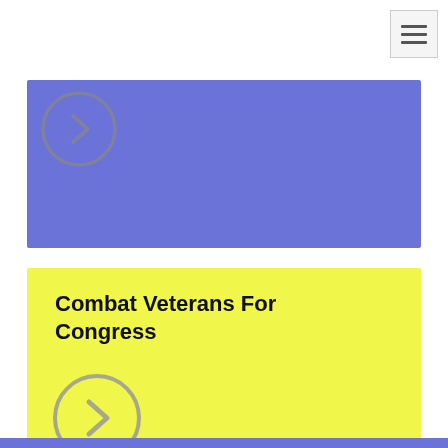[Figure (illustration): Hamburger menu icon button (three horizontal lines) in top-right corner]
[Figure (illustration): Blue rectangular card with a circular arrow/chevron navigation button on the left side]
Combat Veterans For Congress
[Figure (illustration): Yellow rectangular card containing the title 'Combat Veterans For Congress' and a circular arrow/chevron navigation button at the bottom-left]